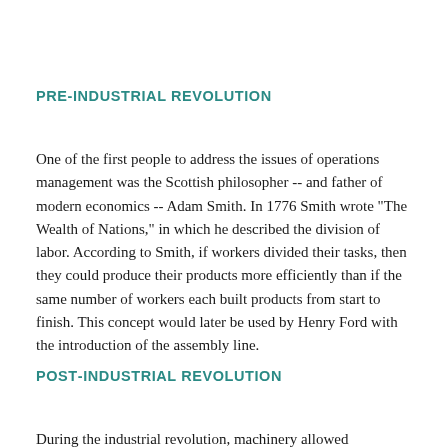PRE-INDUSTRIAL REVOLUTION
One of the first people to address the issues of operations management was the Scottish philosopher -- and father of modern economics -- Adam Smith. In 1776 Smith wrote "The Wealth of Nations," in which he described the division of labor. According to Smith, if workers divided their tasks, then they could produce their products more efficiently than if the same number of workers each built products from start to finish. This concept would later be used by Henry Ford with the introduction of the assembly line.
POST-INDUSTRIAL REVOLUTION
During the industrial revolution, machinery allowed